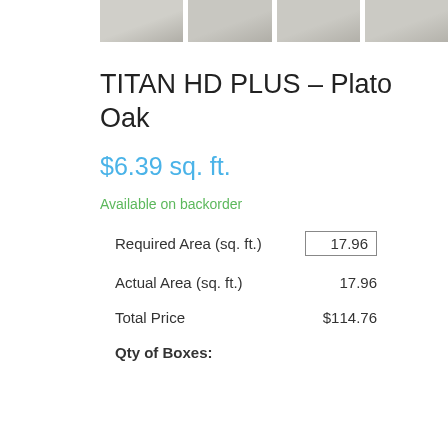[Figure (photo): Four small product thumbnail images of flooring material shown in a horizontal strip at the top of the page]
TITAN HD PLUS – Plato Oak
$6.39 sq. ft.
Available on backorder
| Required Area (sq. ft.) | 17.96 |
| Actual Area (sq. ft.) | 17.96 |
| Total Price | $114.76 |
Qty of Boxes: